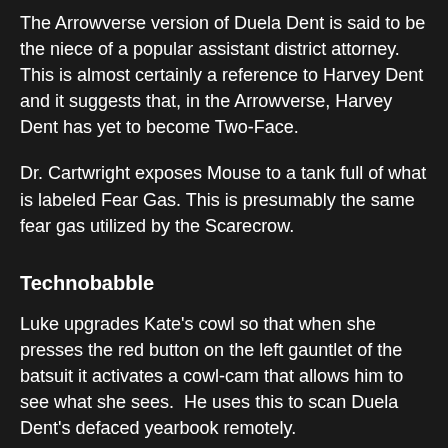The Arrowverse version of Duela Dent is said to be the niece of a popular assistant district attorney. This is almost certainly a reference to Harvey Dent and it suggests that, in the Arrowverse, Harvey Dent has yet to become Two-Face.
Dr. Cartwright exposes Mouse to a tank full of what is labeled Fear Gas. This is presumably the same fear gas utilized by the Scarecrow.
Technobabble
Luke upgrades Kate's cowl so that when she presses the red button on the left gauntlet of the batsuit it activates a cowl-cam that allows him to see what she sees.  He uses this to scan Duela Dent's defaced yearbook remotely.
Dialogue Triumphs
(Kate is grilling Mary for details on people in her circle